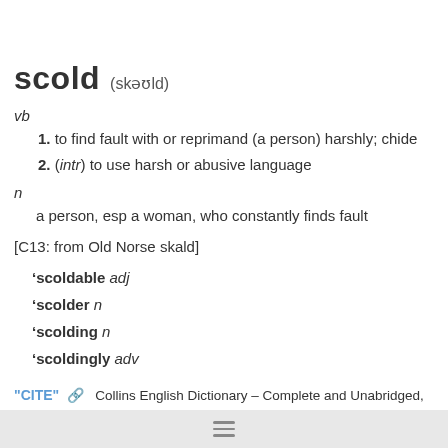scold (skəʊld)
vb
1. to find fault with or reprimand (a person) harshly; chide
2. (intr) to use harsh or abusive language
n
a person, esp a woman, who constantly finds fault
[C13: from Old Norse skald]
'scoldable adj
'scolder n
'scolding n
'scoldingly adv
"CITE" Collins English Dictionary – Complete and Unabridged, 12th Edition 2014 © HarperCollins Publishers 1991, 1994, 1998, 2000, 2003, 2006, 2007, 2009, 2011, 2014